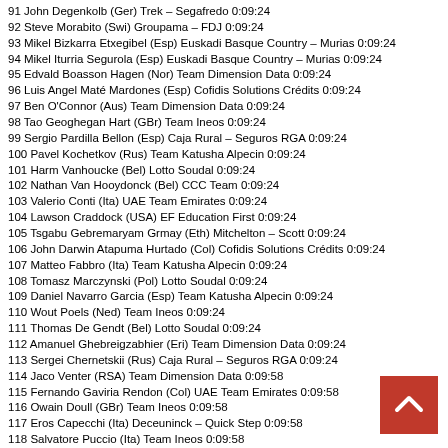91 John Degenkolb (Ger) Trek – Segafredo 0:09:24
92 Steve Morabito (Swi) Groupama – FDJ 0:09:24
93 Mikel Bizkarra Etxegibel (Esp) Euskadi Basque Country – Murias 0:09:24
94 Mikel Iturria Segurola (Esp) Euskadi Basque Country – Murias 0:09:24
95 Edvald Boasson Hagen (Nor) Team Dimension Data 0:09:24
96 Luis Angel Maté Mardones (Esp) Cofidis Solutions Crédits 0:09:24
97 Ben O'Connor (Aus) Team Dimension Data 0:09:24
98 Tao Geoghegan Hart (GBr) Team Ineos 0:09:24
99 Sergio Pardilla Bellon (Esp) Caja Rural – Seguros RGA 0:09:24
100 Pavel Kochetkov (Rus) Team Katusha Alpecin 0:09:24
101 Harm Vanhoucke (Bel) Lotto Soudal 0:09:24
102 Nathan Van Hooydonck (Bel) CCC Team 0:09:24
103 Valerio Conti (Ita) UAE Team Emirates 0:09:24
104 Lawson Craddock (USA) EF Education First 0:09:24
105 Tsgabu Gebremaryam Grmay (Eth) Mitchelton – Scott 0:09:24
106 John Darwin Atapuma Hurtado (Col) Cofidis Solutions Crédits 0:09:24
107 Matteo Fabbro (Ita) Team Katusha Alpecin 0:09:24
108 Tomasz Marczynski (Pol) Lotto Soudal 0:09:24
109 Daniel Navarro Garcia (Esp) Team Katusha Alpecin 0:09:24
110 Wout Poels (Ned) Team Ineos 0:09:24
111 Thomas De Gendt (Bel) Lotto Soudal 0:09:24
112 Amanuel Ghebreigzabhier (Eri) Team Dimension Data 0:09:24
113 Sergei Chernetskii (Rus) Caja Rural – Seguros RGA 0:09:24
114 Jaco Venter (RSA) Team Dimension Data 0:09:58
115 Fernando Gaviria Rendon (Col) UAE Team Emirates 0:09:58
116 Owain Doull (GBr) Team Ineos 0:09:58
117 Eros Capecchi (Ita) Deceuninck – Quick Step 0:09:58
118 Salvatore Puccio (Ita) Team Ineos 0:09:58
119 Sebastian Henao Gomez (Col) Team Ineos 0:09:58